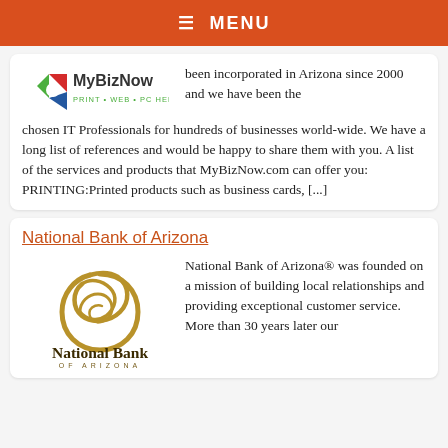MENU
[Figure (logo): MyBizNow logo - PRINT·WEB·PC HELP]
been incorporated in Arizona since 2000 and we have been the chosen IT Professionals for hundreds of businesses world-wide. We have a long list of references and would be happy to share them with you. A list of the services and products that MyBizNow.com can offer you: PRINTING:Printed products such as business cards, [...]
National Bank of Arizona
[Figure (logo): National Bank of Arizona logo - spiral/snail shell gold design with text 'National Bank OF ARIZONA']
National Bank of Arizona® was founded on a mission of building local relationships and providing exceptional customer service. More than 30 years later our